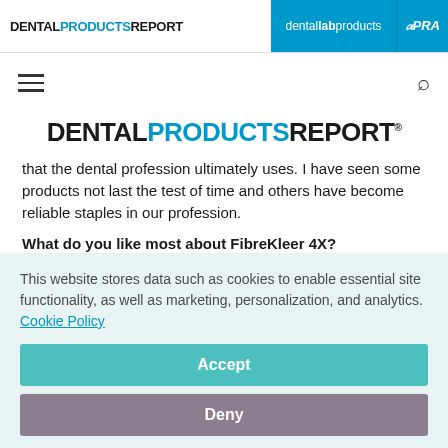DENTAL PRODUCTS REPORT | dental lab products | EPRA
[Figure (logo): Dental Products Report navigation bar with logo, dental lab products in blue bar, and EPR partial logo]
that the dental profession ultimately uses. I have seen some products not last the test of time and others have become reliable staples in our profession.
What do you like most about FibreKleer 4X?
This website stores data such as cookies to enable essential site functionality, as well as marketing, personalization, and analytics. Cookie Policy
Accept
Deny